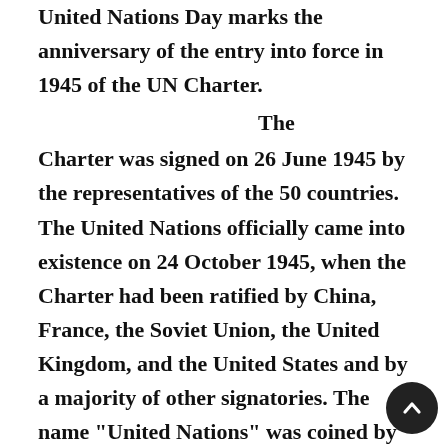United Nations Day marks the anniversary of the entry into force in 1945 of the UN Charter. The Charter was signed on 26 June 1945 by the representatives of the 50 countries. The United Nations officially came into existence on 24 October 1945, when the Charter had been ratified by China, France, the Soviet Union, the United Kingdom, and the United States and by a majority of other signatories. The name "United Nations" was coined by United States President Franklin D. Roosevelt and first used in the Declaration by United Nations of 1 January 1942, during